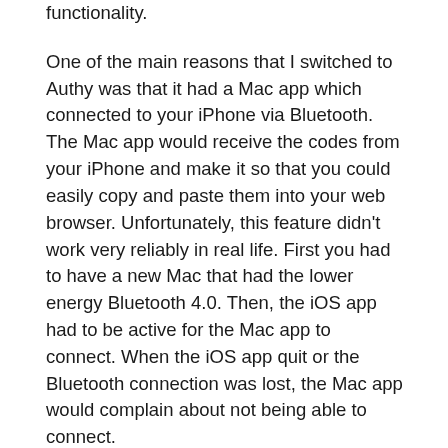functionality.
One of the main reasons that I switched to Authy was that it had a Mac app which connected to your iPhone via Bluetooth. The Mac app would receive the codes from your iPhone and make it so that you could easily copy and paste them into your web browser. Unfortunately, this feature didn't work very reliably in real life. First you had to have a new Mac that had the lower energy Bluetooth 4.0. Then, the iOS app had to be active for the Mac app to connect. When the iOS app quit or the Bluetooth connection was lost, the Mac app would complain about not being able to connect.
What 1Password offers is greater convenience. Since 1Password already runs